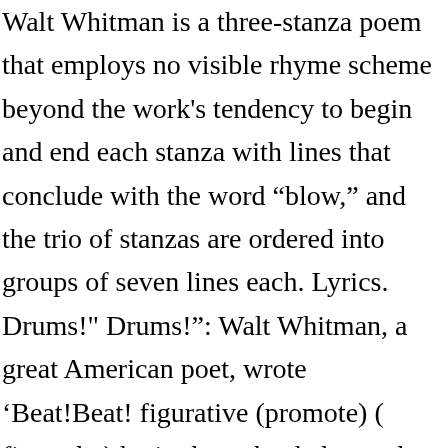Walt Whitman is a three-stanza poem that employs no visible rhyme scheme beyond the work's tendency to begin and end each stanza with lines that conclude with the word “blow,” and the trio of stanzas are ordered into groups of seven lines each. Lyrics. Drums!" Drums!": Walt Whitman, a great American poet, wrote ‘Beat!Beat! figurative (promote) ( figurado ) batir el parche de loc verb locución verbal : Unidad léxica estable formada de dos o más palabras que funciona como verbo ("sacar fuerzas de flaqueza", "acusar recibo"). A